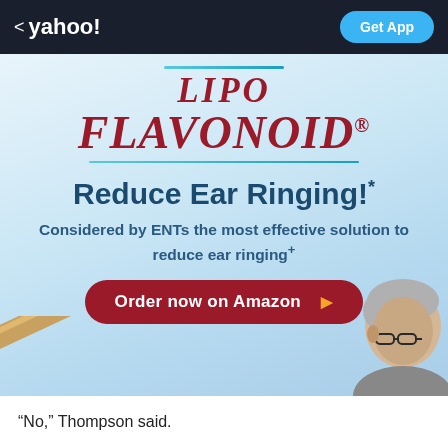< yahoo! Get App
[Figure (infographic): Lipo Flavonoid advertisement with logo, headline 'Reduce Ear Ringing!*', subtext 'Considered by ENTs the most effective solution to reduce ear ringing+', a red 'Order now on Amazon' button, and a photo of an elderly man with glasses in the bottom right corner.]
“No,” Thompson said.